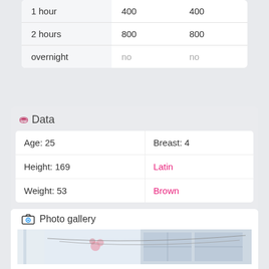|  |  |  |
| --- | --- | --- |
| 1 hour | 400 | 400 |
| 2 hours | 800 | 800 |
| overnight | no | no |
Data
| Age: 25 | Breast: 4 |
| Height: 169 | Latin |
| Weight: 53 | Brown |
Photo gallery
[Figure (photo): Partial photo showing a bright room with white curtains and pink flowers, partially visible at bottom of page]